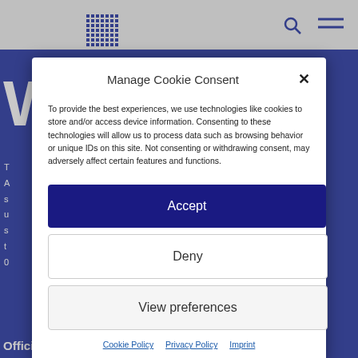Manage Cookie Consent
To provide the best experiences, we use technologies like cookies to store and/or access device information. Consenting to these technologies will allow us to process data such as browsing behavior or unique IDs on this site. Not consenting or withdrawing consent, may adversely affect certain features and functions.
Accept
Deny
View preferences
Cookie Policy   Privacy Policy   Imprint
Officially, the Association was founded by 22